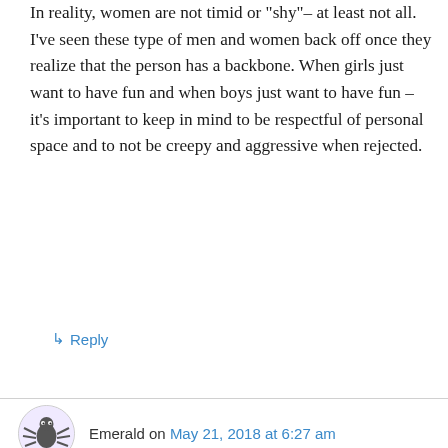In reality, women are not timid or "shy"– at least not all. I've seen these type of men and women back off once they realize that the person has a backbone. When girls just want to have fun and when boys just want to have fun – it's important to keep in mind to be respectful of personal space and to not be creepy and aggressive when rejected.
↳ Reply
Emerald on May 21, 2018 at 6:27 am
I thought this was a cute video, but I wasn't surprised to see that most of the crew for this short had male names. There are a lot of things that go into a typical night out for women, that